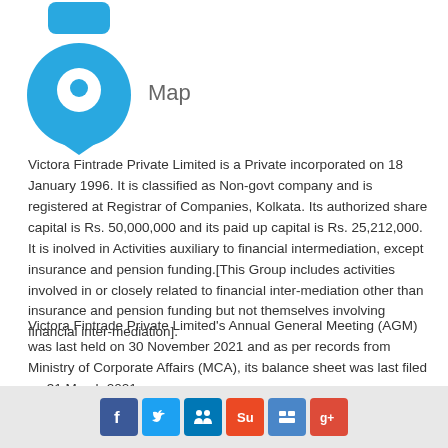[Figure (illustration): Blue map pin / location icon with a smaller blue rectangle above it, and the text 'Map' to its right]
Victora Fintrade Private Limited is a Private incorporated on 18 January 1996. It is classified as Non-govt company and is registered at Registrar of Companies, Kolkata. Its authorized share capital is Rs. 50,000,000 and its paid up capital is Rs. 25,212,000. It is inolved in Activities auxiliary to financial intermediation, except insurance and pension funding.[This Group includes activities involved in or closely related to financial inter-mediation other than insurance and pension funding but not themselves involving financial inter-mediation].
Victora Fintrade Private Limited's Annual General Meeting (AGM) was last held on 30 November 2021 and as per records from Ministry of Corporate Affairs (MCA), its balance sheet was last filed on 31 March 2021.
[Figure (infographic): Social media share buttons: Facebook, Twitter, LinkedIn, StumbleUpon, Delicious, Google Plus]